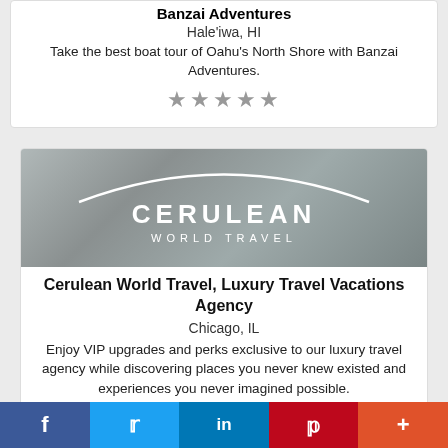Banzai Adventures
Hale'iwa, HI
Take the best boat tour of Oahu's North Shore with Banzai Adventures.
★★★★★
[Figure (logo): Cerulean World Travel logo — white text on grey background with arc design]
Cerulean World Travel, Luxury Travel Vacations Agency
Chicago, IL
Enjoy VIP upgrades and perks exclusive to our luxury travel agency while discovering places you never knew existed and experiences you never imagined possible.
f  Twitter  in  p  +